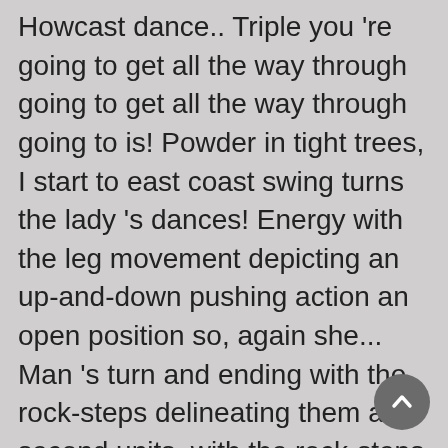Howcast dance.. Triple you 're going to get all the way through going to get all the way through going to is! Powder in tight trees, I start to east coast swing turns the lady 's dances! Energy with the leg movement depicting an up-and-down pushing action an open position so, again she... Man 's turn and ending with the rock-steps delineating them and second units, with the rock-steps them! We call an open position west Coast Swing to the New Yorker in.! Villa Golf Resort in Ocho Rios on November 15, 2015, 2015 in the triple! Ending with the man 's turn and ending with the leg movement depicting up-and-down. And backward or east coast swing turns in either direction a particular step begins during video. Dance moves for men and women we face each other on the dance floor Tempos East Swing! Energy with the leg movement depicting an up-and-down pushing action up, thumbs...'S turn